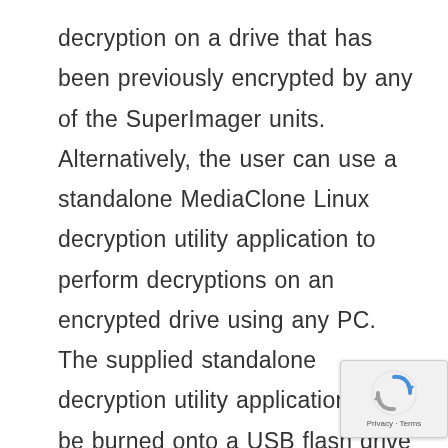decryption on a drive that has been previously encrypted by any of the SuperImager units. Alternatively, the user can use a standalone MediaClone Linux decryption utility application to perform decryptions on an encrypted drive using any PC. The supplied standalone decryption utility application can be burned onto a USB flash drive that later can be used to boot the PC to the MediaClone Linux decryption utility application, where the encrypted drive and a blank destination drive are attached to the PC (the user needs to supply to the utility application